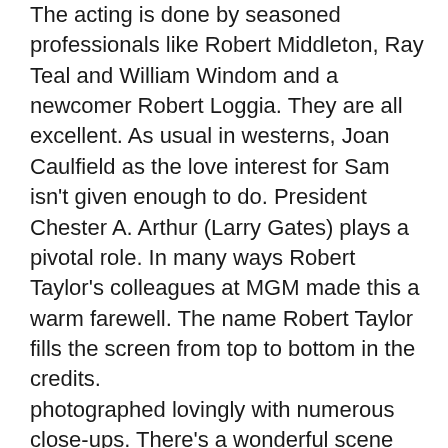The acting is done by seasoned professionals like Robert Middleton, Ray Teal and William Windom and a newcomer Robert Loggia. They are all excellent. As usual in westerns, Joan Caulfield as the love interest for Sam isn't given enough to do. President Chester A. Arthur (Larry Gates) plays a pivotal role. In many ways Robert Taylor's colleagues at MGM made this a warm farewell. The name Robert Taylor fills the screen from top to bottom in the credits.
photographed lovingly with numerous close-ups. There's a wonderful scene where Mr. Taylor stands proudly, legs apart in the western stance facing his enemy when the camera slides into a screen filling close-up. Robert Taylor was very good at playing characters who were larger than life, people who made a difference without losing their integrity. There's even a bit of humor as he spends a fair